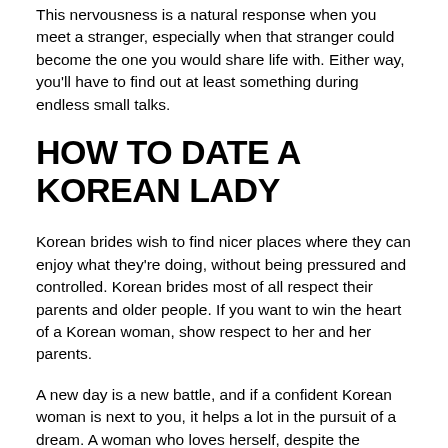This nervousness is a natural response when you meet a stranger, especially when that stranger could become the one you would share life with. Either way, you'll have to find out at least something during endless small talks.
HOW TO DATE A KOREAN LADY
Korean brides wish to find nicer places where they can enjoy what they're doing, without being pressured and controlled. Korean brides most of all respect their parents and older people. If you want to win the heart of a Korean woman, show respect to her and her parents.
A new day is a new battle, and if a confident Korean woman is next to you, it helps a lot in the pursuit of a dream. A woman who loves herself, despite the shortcomings, will love the man, despite his disadvantages. Loving you, she will open any doors on the way to the stars with you. When registering, you